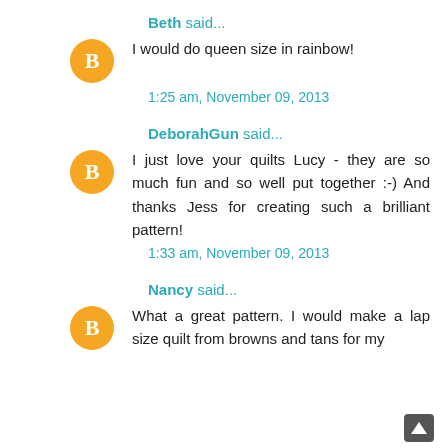Beth said...
I would do queen size in rainbow!
1:25 am, November 09, 2013
DeborahGun said...
I just love your quilts Lucy - they are so much fun and so well put together :-) And thanks Jess for creating such a brilliant pattern!
1:33 am, November 09, 2013
Nancy said...
What a great pattern. I would make a lap size quilt from browns and tans for my